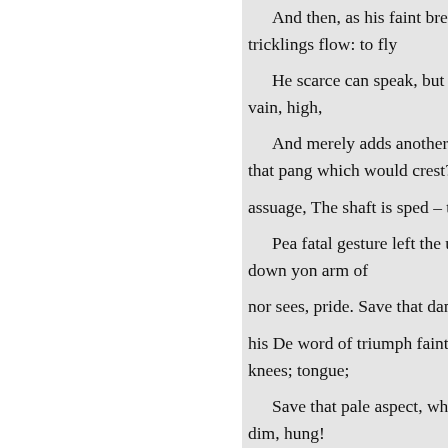And then, as his faint breathing tricklings flow: to fly

    He scarce can speak, but moti
vain, high,

    And merely adds another throb
that pang which would crest?

assuage, The shaft is sped – the a

    Pea fatal gesture left the ungua
down yon arm of

nor sees, pride. Save that damp b

his De word of triumph fainted f
knees; tongue;

    Save that pale aspect, where th
dim, hung!

    Held all the light that shone on
bim. Though from its fellow shri

reins; These Kaled snatches: diz

    The foe arrives, who long had